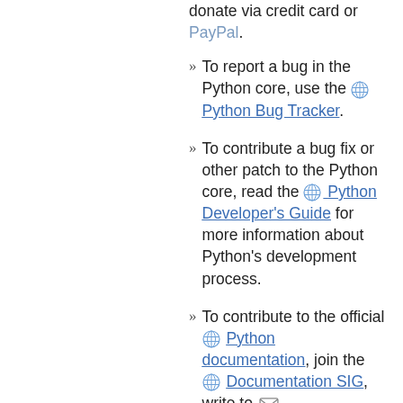donate via credit card or PayPal.
To report a bug in the Python core, use the Python Bug Tracker.
To contribute a bug fix or other patch to the Python core, read the Python Developer's Guide for more information about Python's development process.
To contribute to the official Python documentation, join the Documentation SIG, write to